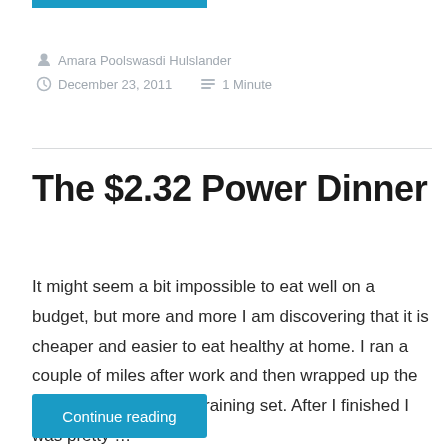Amara Poolswasdi Hulslander
December 23, 2011   1 Minute
The $2.32 Power Dinner
It might seem a bit impossible to eat well on a budget, but more and more I am discovering that it is cheaper and easier to eat healthy at home. I ran a couple of miles after work and then wrapped up the evening with a weight training set. After I finished I was pretty …
Continue reading